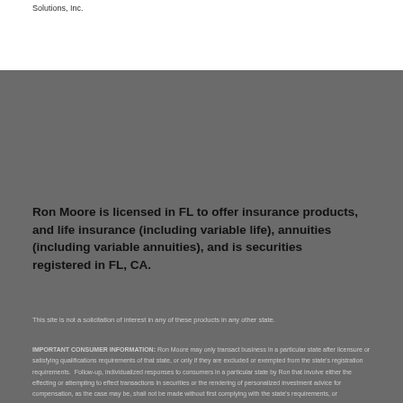Solutions, Inc.
Ron Moore is licensed in FL to offer insurance products, and life insurance (including variable life), annuities (including variable annuities), and is securities registered in FL, CA.
This site is not a solicitation of interest in any of these products in any other state.
IMPORTANT CONSUMER INFORMATION: Ron Moore may only transact business in a particular state after licensure or satisfying qualifications requirements of that state, or only if they are excluded or exempted from the state's registration requirements.  Follow-up, individualized responses to consumers in a particular state by Ron that involve either the effecting or attempting to effect transactions in securities or the rendering of personalized investment advice for compensation, as the case may be, shall not be made without first complying with the state's requirements, or